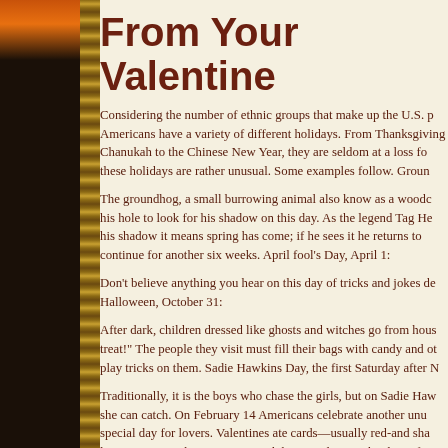From Your Valentine
Considering the number of ethnic groups that make up the U.S. p Americans have a variety of different holidays. From Thanksgiving Chanukah to the Chinese New Year, they are seldom at a loss fo these holidays are rather unusual. Some examples follow. Groun
The groundhog, a small burrowing animal also know as a woodc his hole to look for his shadow on this day. As the legend Tag He his shadow it means spring has come; if he sees it he returns to continue for another six weeks. April fool's Day, April 1:
Don't believe anything you hear on this day of tricks and jokes de Halloween, October 31:
After dark, children dressed like ghosts and witches go from hous treat!" The people they visit must fill their bags with candy and ot play tricks on them. Sadie Hawkins Day, the first Saturday after N
Traditionally, it is the boys who chase the girls, but on Sadie Haw she can catch. On February 14 Americans celebrate another unu special day for lovers. Valentines ate cards—usually red-and sha love written on them. Lovers send these cards to each other, ofte Day.
The origins of this holiday are uncertain, but according to one leg Christian priest named Valentine who lived in Rome during the th to perform marriages for Christian couples. Unfortunately, the Em allow Christian marriages, so they had to be performed in secret. and put into prison. While in prison he fell in love with the daught
After one year, the Emperor offered to release Valentine if he w